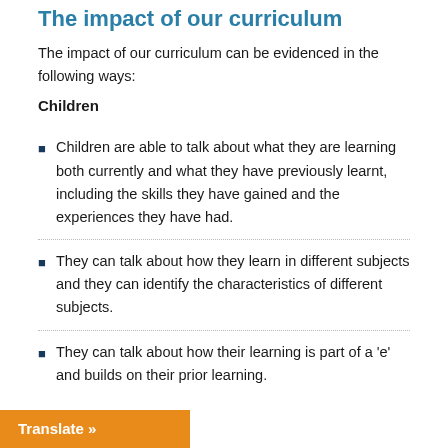The impact of our curriculum
The impact of our curriculum can be evidenced in the following ways:
Children
Children are able to talk about what they are learning both currently and what they have previously learnt, including the skills they have gained and the experiences they have had.
They can talk about how they learn in different subjects and they can identify the characteristics of different subjects.
They can talk about how their learning is part of a 'e' and builds on their prior learning.